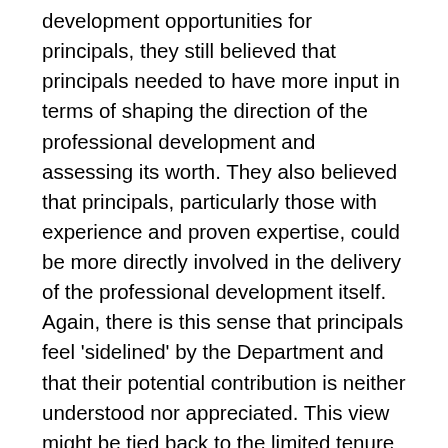development opportunities for principals, they still believed that principals needed to have more input in terms of shaping the direction of the professional development and assessing its worth. They also believed that principals, particularly those with experience and proven expertise, could be more directly involved in the delivery of the professional development itself. Again, there is this sense that principals feel 'sidelined' by the Department and that their potential contribution is neither understood nor appreciated. This view might be tied back to the limited tenure of the principal's position and the underlying notion that the status and value of the principalship is limited to the length of tenure. Such a perspective obviously precludes the possibility that a 'college' of principals could be formed that would play a critical role in areas such as the description of the role of principal itself; the identification and provision